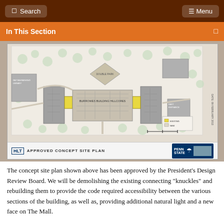Search | Menu
In This Section
[Figure (map): Approved Concept Site Plan for a Penn State building project dated 09 February 2013, showing a campus map with buildings, pathways, trees, and highlighted connecting knuckles in yellow.]
APPROVED CONCEPT SITE PLAN
The concept site plan shown above has been approved by the President's Design Review Board. We will be demolishing the existing connecting "knuckles" and rebuilding them to provide the code required accessibility between the various sections of the building, as well as, providing additional natural light and a new face on The Mall.